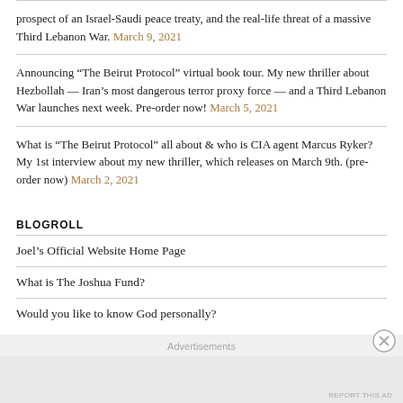prospect of an Israel-Saudi peace treaty, and the real-life threat of a massive Third Lebanon War. March 9, 2021
Announcing “The Beirut Protocol” virtual book tour. My new thriller about Hezbollah — Iran’s most dangerous terror proxy force — and a Third Lebanon War launches next week. Pre-order now! March 5, 2021
What is “The Beirut Protocol” all about & who is CIA agent Marcus Ryker? My 1st interview about my new thriller, which releases on March 9th. (pre-order now) March 2, 2021
BLOGROLL
Joel’s Official Website Home Page
What is The Joshua Fund?
Would you like to know God personally?
VISIT JOEL’S “EPICENTER TEAM” PAGE ON FACEBOOK
Advertisements
REPORT THIS AD